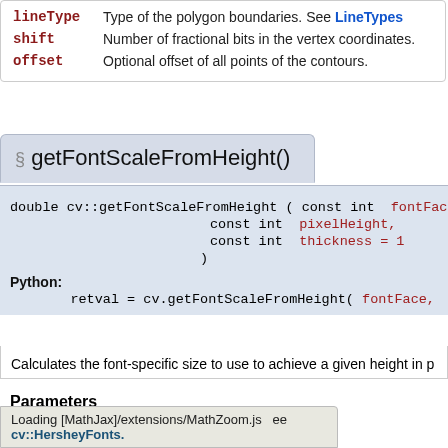| Parameter | Description |
| --- | --- |
| lineType | Type of the polygon boundaries. See LineTypes |
| shift | Number of fractional bits in the vertex coordinates. |
| offset | Optional offset of all points of the contours. |
§ getFontScaleFromHeight()
double cv::getFontScaleFromHeight ( const int fontFace, const int pixelHeight, const int thickness = 1 )
Python:
    retval = cv.getFontScaleFromHeight( fontFace, pixelHeight[, thick...
Calculates the font-specific size to use to achieve a given height in p...
Parameters
Loading [MathJax]/extensions/MathZoom.js    ee cv::HersheyFonts.